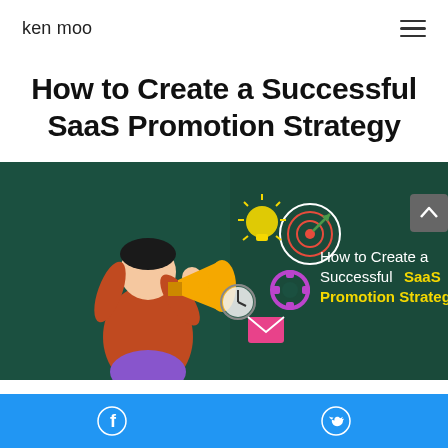ken moo
How to Create a Successful SaaS Promotion Strategy
[Figure (illustration): Dark green banner illustration featuring a person with a megaphone surrounded by icons (target, lightbulb, gear, clock, envelope) and text reading 'How to Create a Successful SaaS Promotion Strategy' with SaaS Promotion Strategy highlighted in yellow]
Facebook and Twitter social share buttons on blue bar